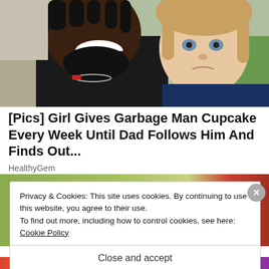[Figure (photo): A man with dreadlocks and a beard smiling broadly, with a young blonde toddler girl beside him, outdoors with green grass visible in the background.]
[Pics] Girl Gives Garbage Man Cupcake Every Week Until Dad Follows Him And Finds Out...
HealthyGem
[Figure (photo): Partial second article image showing a green and red background, partially obscured by cookie consent overlay.]
Privacy & Cookies: This site uses cookies. By continuing to use this website, you agree to their use.
To find out more, including how to control cookies, see here:
Cookie Policy
Close and accept